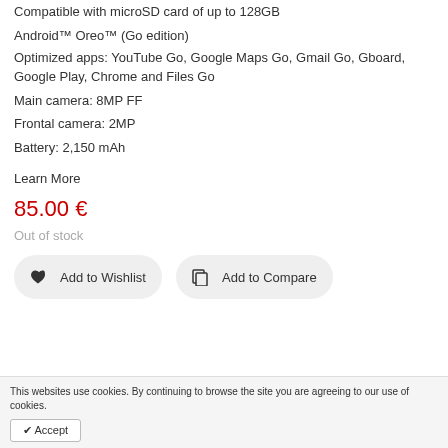Compatible with microSD card of up to 128GB
Android™ Oreo™ (Go edition)
Optimized apps: YouTube Go, Google Maps Go, Gmail Go, Gboard, Google Play, Chrome and Files Go
Main camera: 8MP FF
Frontal camera: 2MP
Battery: 2,150 mAh
Learn More
85.00 €
Out of stock
Add to Wishlist   Add to Compare
This websites use cookies. By continuing to browse the site you are agreeing to our use of cookies.
✔ Accept